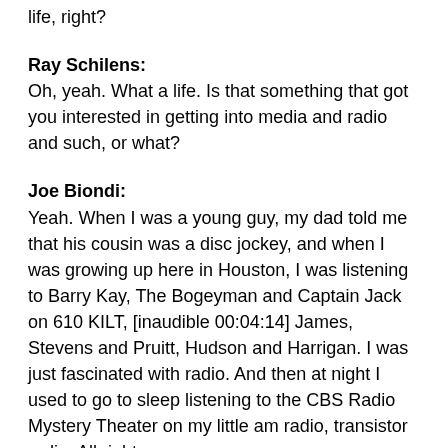life, right?
Ray Schilens:
Oh, yeah. What a life. Is that something that got you interested in getting into media and radio and such, or what?
Joe Biondi:
Yeah. When I was a young guy, my dad told me that his cousin was a disc jockey, and when I was growing up here in Houston, I was listening to Barry Kay, The Bogeyman and Captain Jack on 610 KILT, [inaudible 00:04:14] James, Stevens and Pruitt, Hudson and Harrigan. I was just fascinated with radio. And then at night I used to go to sleep listening to the CBS Radio Mystery Theater on my little am radio, transistor radio. All right.